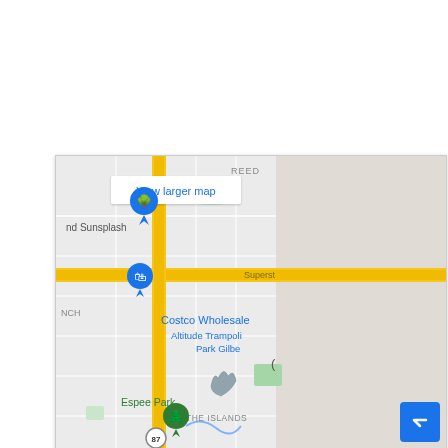[Figure (map): Google Maps embed showing an area around Gilbert, AZ. Visible landmarks include 'nd Sunsplash', a blue location pin, 'Costco Wholesale', 'Altitude Trampolin Park Gilbe', 'Espee Park', 'THE ISLANDS', route 87 circle marker, and a green tree pin. A major east-west road (Superst) is shown in yellow/tan. A 'View larger map' link appears at top left of the map. The right portion of the map shows a beige/gray empty area. A blue 'scroll to top' button with an up-arrow chevron is in the bottom-right corner.]